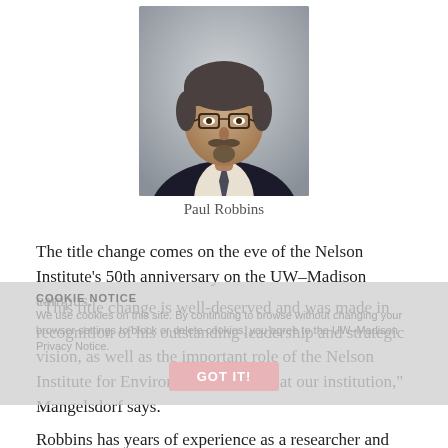[Figure (photo): Headshot portrait of Paul Robbins, a middle-aged man with glasses, gray-streaked hair, goatee, wearing a dark suit and light shirt with a tie, against a light gray gradient background.]
Paul Robbins
The title change comes on the eve of the Nelson Institute's 50th anniversary on the UW–Madison campus.
“This title change is well-deserved and was made in recognition of his outstanding leadership and strategic vision, as well as the important role of the Nelson Institute for Environmental Studies at our institution,” Mangelsdorf says.
Robbins has years of experience as a researcher and